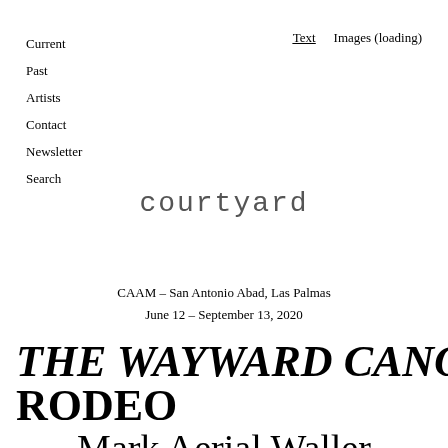Current
Past
Artists
Contact
Newsletter
Search
Text   Images (loading)
courtyard
CAAM – San Antonio Abad, Las Palmas
June 12 – September 13, 2020
THE WAYWARD CANON RODEO
Mark Aerial Waller